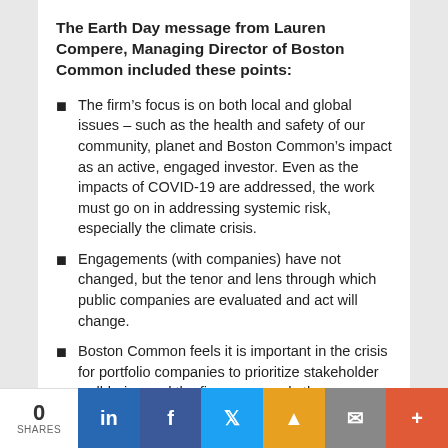The Earth Day message from Lauren Compere, Managing Director of Boston Common included these points:
The firm’s focus is on both local and global issues – such as the health and safety of our community, planet and Boston Common’s impact as an active, engaged investor. Even as the impacts of COVID-19 are addressed, the work must go on in addressing systemic risk, especially the climate crisis.
Engagements (with companies) have not changed, but the tenor and lens through which public companies are evaluated and act will change.
Boston Common feels it is important in the crisis for portfolio companies to prioritize stakeholder well-being and the firm commends those companies that step up to show leadership.
At the same time, some companies are being called out – those firms that are price gouging, firing
0 SHARES | LinkedIn | Facebook | Twitter | Pushbullet | Email | More